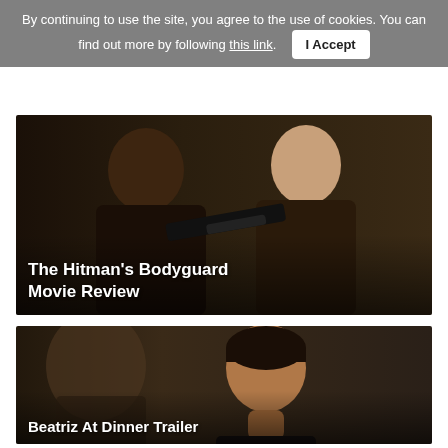By continuing to use the site, you agree to the use of cookies. You can find out more by following this link. I Accept
[Figure (photo): Movie still from The Hitman's Bodyguard showing two men aiming a gun]
The Hitman's Bodyguard Movie Review
[Figure (photo): Movie still from Beatriz At Dinner showing a woman smiling and looking upward]
Beatriz At Dinner Trailer